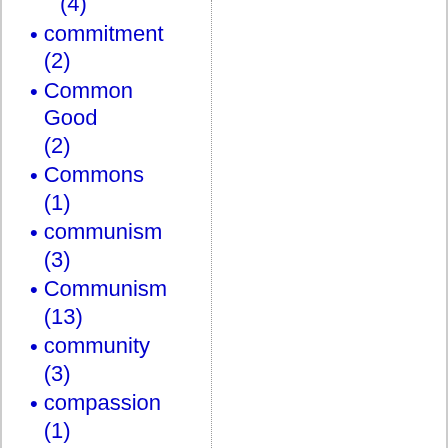(4)
commitment (2)
Common Good (2)
Commons (1)
communism (3)
Communism (13)
community (3)
compassion (1)
compromise (12)
Confederate flag (1)
Congress (1)
conscience (7)